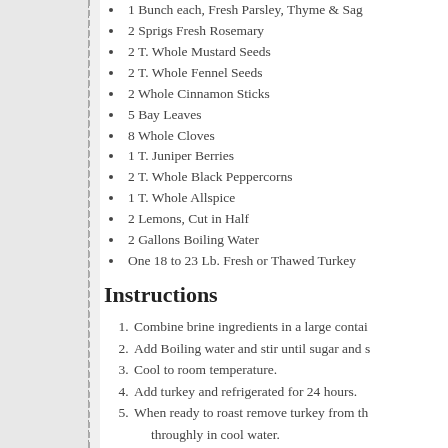1 Bunch each, Fresh Parsley, Thyme & Sage
2 Sprigs Fresh Rosemary
2 T. Whole Mustard Seeds
2 T. Whole Fennel Seeds
2 Whole Cinnamon Sticks
5 Bay Leaves
8 Whole Cloves
1 T. Juniper Berries
2 T. Whole Black Peppercorns
1 T. Whole Allspice
2 Lemons, Cut in Half
2 Gallons Boiling Water
One 18 to 23 Lb. Fresh or Thawed Turkey
Instructions
Combine brine ingredients in a large contai
Add Boiling water and stir until sugar and s
Cool to room temperature.
Add turkey and refrigerated for 24 hours.
When ready to roast remove turkey from th throughly in cool water.
Pat turkey completely dry using paper towe
Preheat oven to 325 degrees.
Slather turkey with 1 stick of softened butte
Sprinkle with course ground pepper and kos
Place breast side up on wire rack in roasting
Place in oven and roast approximately 2